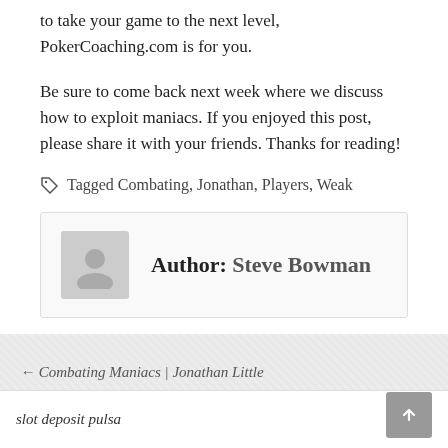to take your game to the next level, PokerCoaching.com is for you.
Be sure to come back next week where we discuss how to exploit maniacs. If you enjoyed this post, please share it with your friends. Thanks for reading!
Tagged Combating, Jonathan, Players, Weak
Author: Steve Bowman
← Combating Maniacs | Jonathan Little
Combating Calling Stations | Jonathan Little →
slot deposit pulsa